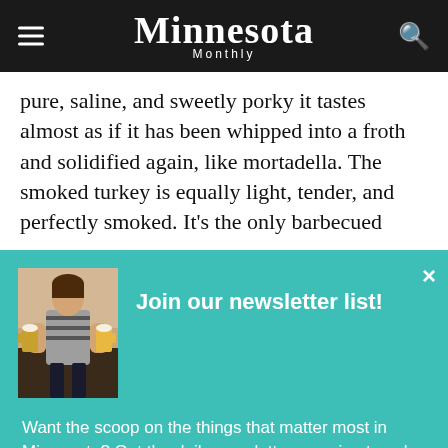Minnesota Monthly
pure, saline, and sweetly porky it tastes almost as if it has been whipped into a froth and solidified again, like mortadella. The smoked turkey is equally light, tender, and perfectly smoked. It’s the only barbecued
[Figure (screenshot): Newsletter signup popup overlay with teal/turquoise background. Contains a photo of a woman holding beer mugs, headline 'Join our newsletter list!', descriptive text, and a 'Yes, Send me The Daily!' button.]
Join our newsletter list!
Want the scoop on the things that matter most in Minnesota? Get the daily newsletter covering travel, food, beverage, style and upcoming events throughout the state.
Yes, Send me The Daily!